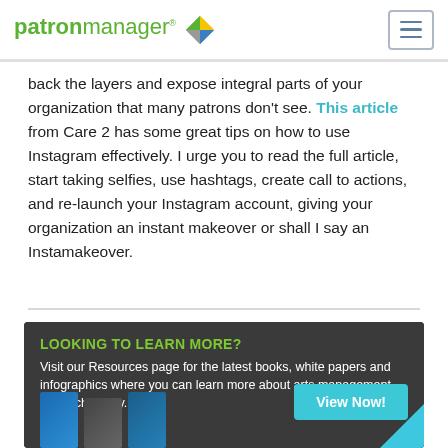patronmanager
back the layers and expose integral parts of your organization that many patrons don't see. This article from Care 2 has some great tips on how to use Instagram effectively. I urge you to read the full article, start taking selfies, use hashtags, create call to actions, and re-launch your Instagram account, giving your organization an instant makeover or shall I say an Instamakeover.
[Figure (infographic): LOOKING TO LEARN MORE? banner with text about Resources page for books, white papers and infographics about arts management and technology, with book cover images and a View Now! button.]